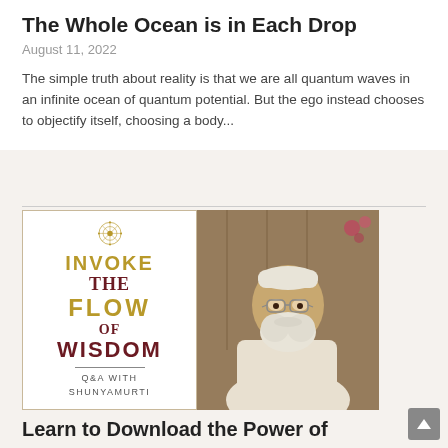The Whole Ocean is in Each Drop
August 11, 2022
The simple truth about reality is that we are all quantum waves in an infinite ocean of quantum potential. But the ego instead chooses to objectify itself, choosing a body…
[Figure (photo): Book cover for 'Invoke the Flow of Wisdom – Q&A with Shunyamurti' with gold and dark red text on white background with ornate mandala symbol, displayed alongside a photo of an elderly bearded man in white clothing and white cap]
Learn to Download the Power of